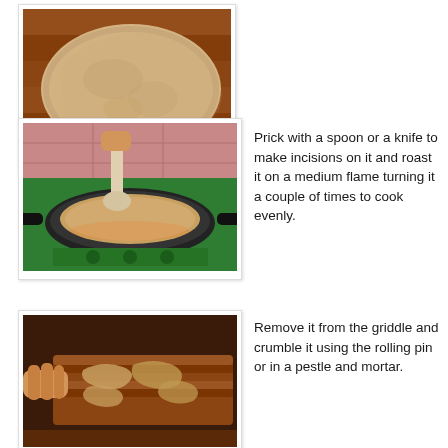[Figure (photo): A flat round dough/bread laid on a wooden surface, ready to be cooked.]
[Figure (photo): A person pressing a spoon on a flatbread cooking on a green gas stove in a pan.]
Prick with a spoon or a knife to make incisions on it and roast it on a medium flame turning it a couple of times to cook evenly.
[Figure (photo): Hands crumbling a cooked flatbread over a wooden rolling pin/board.]
Remove it from the griddle and crumble it using the rolling pin or in a pestle and mortar.